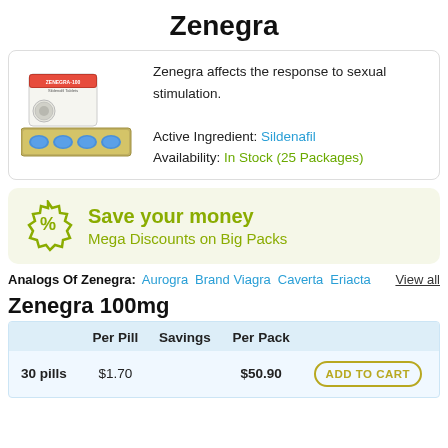Zenegra
[Figure (photo): Product photo of Zenegra 100 tablet blister packs with blue pills]
Zenegra affects the response to sexual stimulation.
Active Ingredient: Sildenafil
Availability: In Stock (25 Packages)
[Figure (infographic): Discount badge with percent sign icon and text: Save your money - Mega Discounts on Big Packs]
Analogs Of Zenegra: Aurogra Brand Viagra Caverta Eriacta View all
Zenegra 100mg
|  | Per Pill | Savings | Per Pack |  |
| --- | --- | --- | --- | --- |
| 30 pills | $1.70 |  | $50.90 | ADD TO CART |